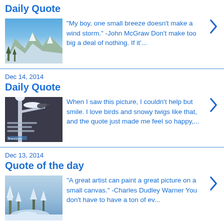Daily Quote
[Figure (photo): Snowy mountain landscape with blue sky and snow-covered trees]
"My boy, one small breeze doesn't make a wind storm." -John McGraw Don't make too big a deal of nothing. If it'...
Dec 14, 2014
Daily Quote
[Figure (photo): Quote image with snowy bird on twig, text overlay on dark background with BrainyQuote logo]
When I saw this picture, I couldn't help but smile. I love birds and snowy twigs like that, and the quote just made me feel so happy,...
Dec 13, 2014
Quote of the day
[Figure (photo): Snowy winter scene with frozen stream and snow-covered trees]
"A great artist can paint a great picture on a small canvas." -Charles Dudley Warner You don't have to have a ton of ev...